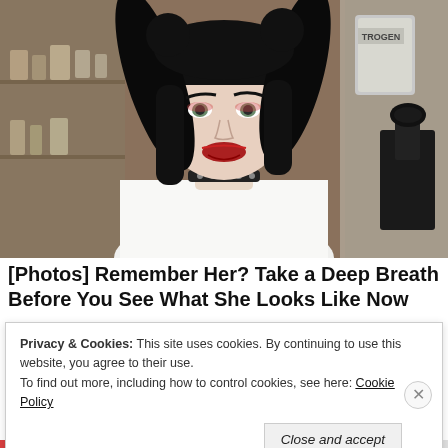[Figure (photo): Woman with black pigtails and bangs wearing a white lab coat and studded choker necklace, posing in a laboratory setting with shelves and equipment in the background. Partial text 'TROGEN' visible on equipment in upper right.]
[Photos] Remember Her? Take a Deep Breath Before You See What She Looks Like Now
Privacy & Cookies: This site uses cookies. By continuing to use this website, you agree to their use.
To find out more, including how to control cookies, see here: Cookie Policy
Close and accept